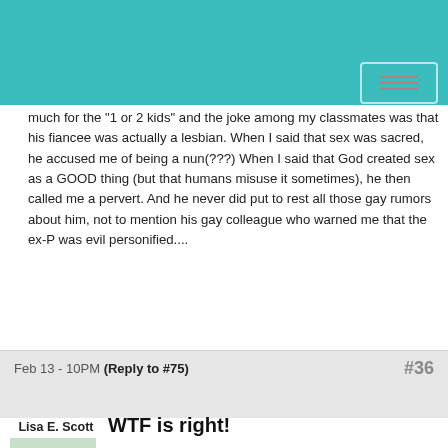much for the "1 or 2 kids" and the joke among my classmates was that his fiancee was actually a lesbian. When I said that sex was sacred, he accused me of being a nun(???) When I said that God created sex as a GOOD thing (but that humans misuse it sometimes), he then called me a pervert. And he never did put to rest all those gay rumors about him, not to mention his gay colleague who warned me that the ex-P was evil personified....
Feb 13 - 10PM (Reply to #75) #36
Lisa E. Scott
WTF is right!
OMG, victimnomore....He said "Please do this